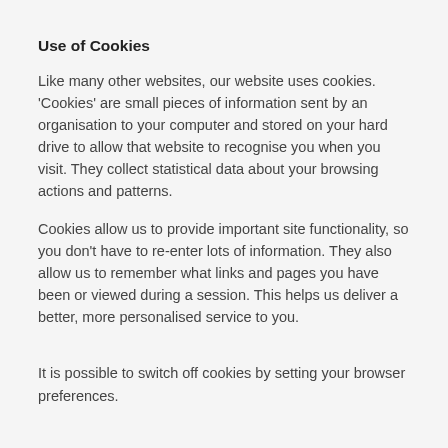Use of Cookies
Like many other websites, our website uses cookies. 'Cookies' are small pieces of information sent by an organisation to your computer and stored on your hard drive to allow that website to recognise you when you visit. They collect statistical data about your browsing actions and patterns.
Cookies allow us to provide important site functionality, so you don't have to re-enter lots of information. They also allow us to remember what links and pages you have been or viewed during a session. This helps us deliver a better, more personalised service to you.
It is possible to switch off cookies by setting your browser preferences.